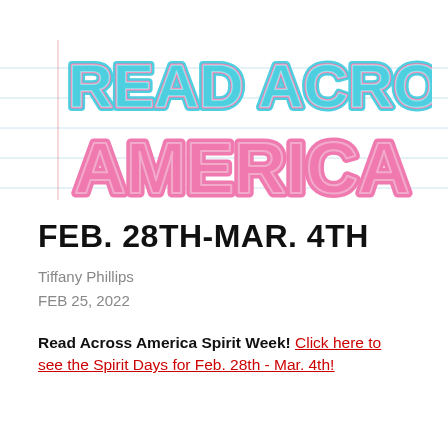[Figure (illustration): Read Across America logo with large bubble letters: 'READ ACROSS' in teal/cyan on top line, 'AMERICA' in pink on second line, with notebook ruled lines in the background]
FEB. 28TH-MAR. 4TH
Tiffany Phillips
FEB 25, 2022
Read Across America Spirit Week! Click here to see the Spirit Days for Feb. 28th - Mar. 4th!